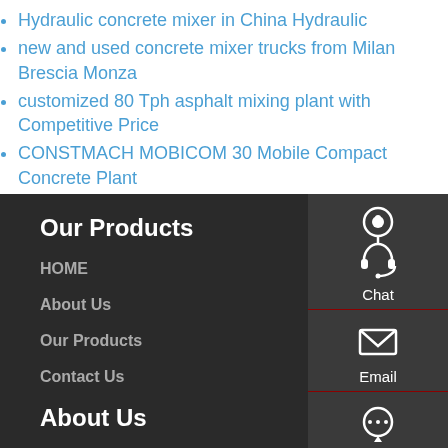Hydraulic concrete mixer in China Hydraulic
new and used concrete mixer trucks from Milan Brescia Monza
customized 80 Tph asphalt mixing plant with Competitive Price
CONSTMACH MOBICOM 30 Mobile Compact Concrete Plant
Our Products
HOME
About Us
Our Products
Contact Us
About Us
[Figure (infographic): Sidebar with Chat, Email, Contact, Top navigation icons on dark background]
Chat
Email
Contact
Top